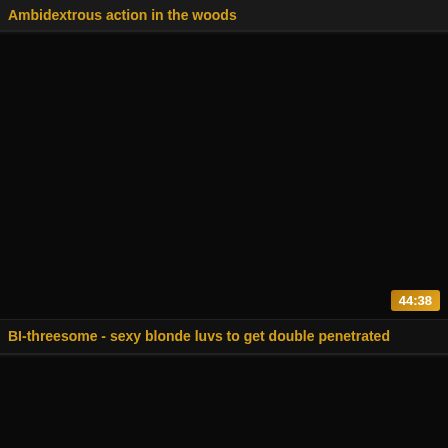Ambidextrous action in the woods
[Figure (screenshot): Dark video thumbnail placeholder, nearly black]
44:38
BI-threesome - sexy blonde luvs to get double penetrated
[Figure (screenshot): Dark video thumbnail placeholder, nearly black]